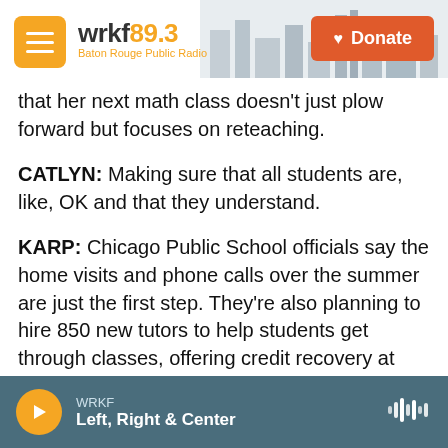wrkf89.3 Baton Rouge Public Radio | Donate
that her next math class doesn't just plow forward but focuses on reteaching.
CATLYN: Making sure that all students are, like, OK and that they understand.
KARP: Chicago Public School officials say the home visits and phone calls over the summer are just the first step. They're also planning to hire 850 new tutors to help students get through classes, offering credit recovery at every high school and setting up mental health programs, all in an effort to make going back to school much more appealing than online learning.
WRKF | Left, Right & Center